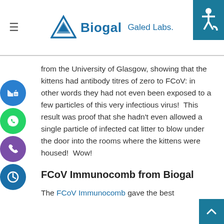Biogal Galed Labs.
from the University of Glasgow, showing that the kittens had antibody titres of zero to FCoV: in other words they had not even been exposed to a few particles of this very infectious virus!  This result was proof that she hadn't even allowed a single particle of infected cat litter to blow under the door into the rooms where the kittens were housed!  Wow!
FCoV Immunocomb from Biogal
The FCoV Immunocomb gave the best